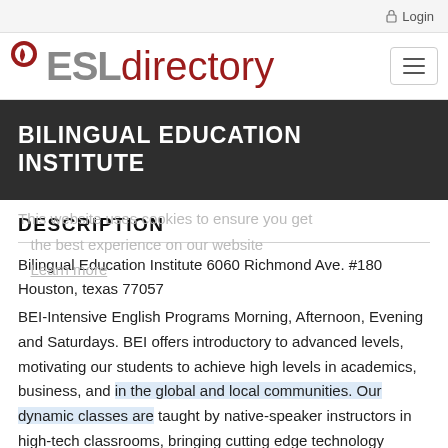Login
[Figure (logo): ESLdirectory logo with icon on left, hamburger menu button on right]
BILINGUAL EDUCATION INSTITUTE
DESCRIPTION
Bilingual Education Institute 6060 Richmond Ave. #180 Houston, texas 77057
BEI-Intensive English Programs Morning, Afternoon, Evening and Saturdays. BEI offers introductory to advanced levels, motivating our students to achieve high levels in academics, business, and in the global and local communities. Our dynamic classes are taught by native-speaker instructors in high-tech classrooms, bringing cutting edge technology directly into the learning